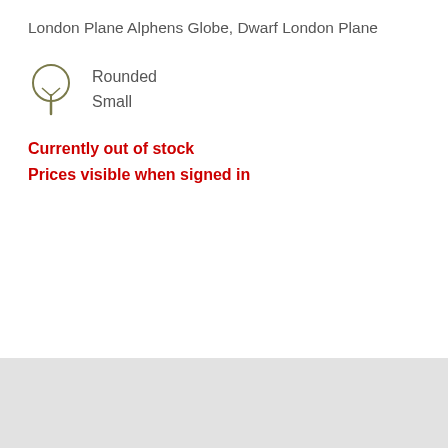London Plane Alphens Globe, Dwarf London Plane
[Figure (illustration): Tree icon with rounded canopy shape, drawn in olive/dark yellow outline style]
Rounded
Small
Currently out of stock
Prices visible when signed in